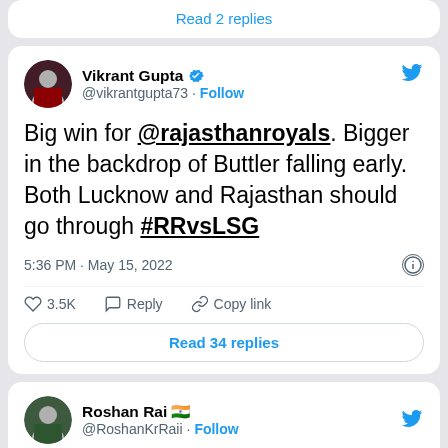Read 2 replies
Vikrant Gupta @vikrantgupta73 · Follow
Big win for @rajasthanroyals. Bigger in the backdrop of Buttler falling early. Both Lucknow and Rajasthan should go through #RRvsLSG
5:36 PM · May 15, 2022
3.5K  Reply  Copy link
Read 34 replies
Roshan Rai 🇮🇳 @RoshanKrRaii · Follow
LSG in  LSG in